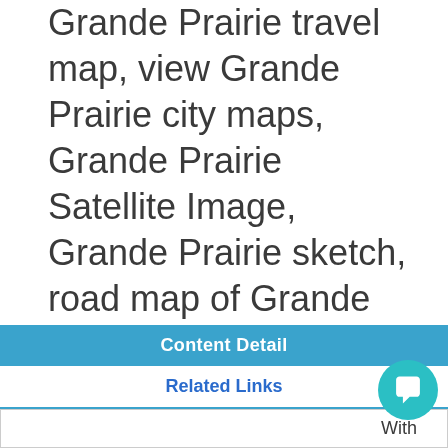Grande Prairie travel map, view Grande Prairie city maps, Grande Prairie Satellite Image, Grande Prairie sketch, road map of Grande Prairie and information Grande Prairie destinations. For more maps and satellite images please follow the page.
Content Detail
Related Links
With